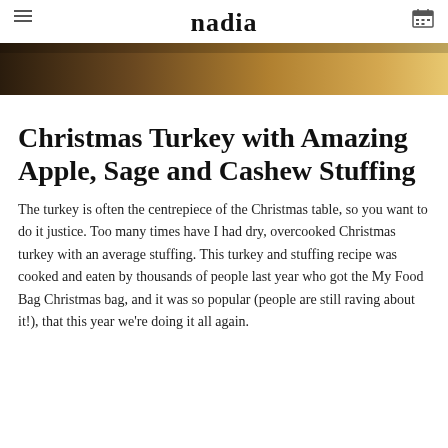nadia
[Figure (photo): Partial food photograph showing a warm golden-brown background, cropped at the top of the page]
Christmas Turkey with Amazing Apple, Sage and Cashew Stuffing
The turkey is often the centrepiece of the Christmas table, so you want to do it justice. Too many times have I had dry, overcooked Christmas turkey with an average stuffing. This turkey and stuffing recipe was cooked and eaten by thousands of people last year who got the My Food Bag Christmas bag, and it was so popular (people are still raving about it!), that this year we're doing it all again.